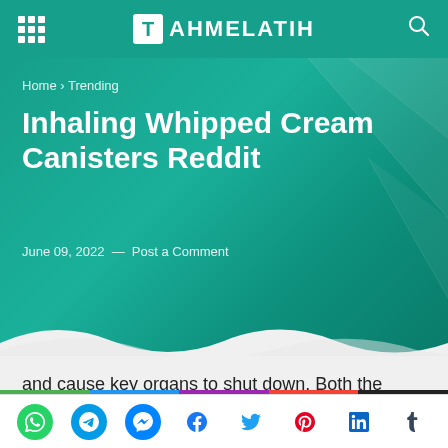TAHMELATIH
Home › Trending
Inhaling Whipped Cream Canisters Reddit
June 09, 2022 — Post a Comment
and cause key organs to shut down. Both the brain and the lungs might be impacted. Inhaling Nitrous Oxide may cause a person to faint, choke, or develop cardiac difficulties. The space in which the gas was ingested, as
Social share icons: WhatsApp, Telegram, Messenger, Facebook, Twitter, Pinterest, LinkedIn, Tumblr